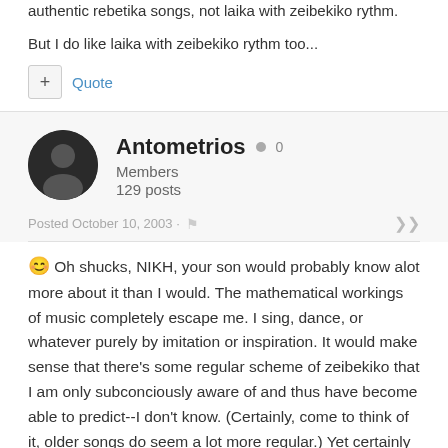authentic rebetika songs, not laika with zeibekiko rythm.
But I do like laika with zeibekiko rythm too...
Quote
Antometrios  0
Members
129 posts
Posted October 10, 2003 ·
😊 Oh shucks, NIKH, your son would probably know alot more about it than I would. The mathematical workings of music completely escape me. I sing, dance, or whatever purely by imitation or inspiration. It would make sense that there's some regular scheme of zeibekiko that I am only subconciously aware of and thus have become able to predict--I don't know. (Certainly, come to think of it, older songs do seem a lot more regular.) Yet certainly there are those--today, anyway--which do their own thing.